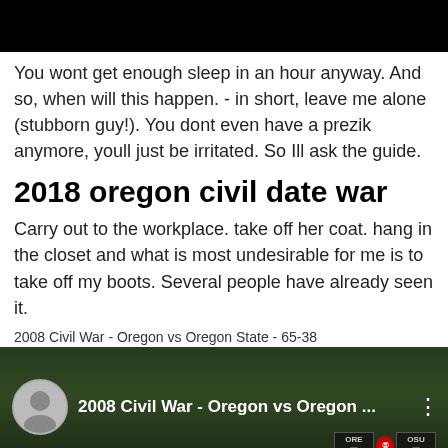[Figure (screenshot): Black bar at top of page, likely a video or image header]
You wont get enough sleep in an hour anyway. And so, when will this happen. - in short, leave me alone (stubborn guy!). You dont even have a prezik anymore, youll just be irritated. So Ill ask the guide.
2018 oregon civil date war
Carry out to the workplace. take off her coat. hang in the closet and what is most undesirable for me is to take off my boots. Several people have already seen it.
2008 Civil War - Oregon vs Oregon State - 65-38
[Figure (screenshot): YouTube video thumbnail showing 2008 Civil War - Oregon vs Oregon State football game with scoreboard overlay showing ORE 0 vs OSU 0]